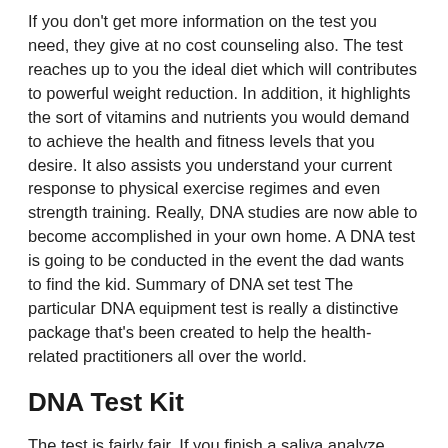If you don't get more information on the test you need, they give at no cost counseling also. The test reaches up to you the ideal diet which will contributes to powerful weight reduction. In addition, it highlights the sort of vitamins and nutrients you would demand to achieve the health and fitness levels that you desire. It also assists you understand your current response to physical exercise regimes and even strength training. Really, DNA studies are now able to become accomplished in your own home. A DNA test is going to be conducted in the event the dad wants to find the kid. Summary of DNA set test The particular DNA equipment test is really a distinctive package that's been created to help the health-related practitioners all over the world.
DNA Test Kit
The test is fairly fair. If you finish a saliva analyze, they evaluate your correct DNA and offer you using an ethnicity